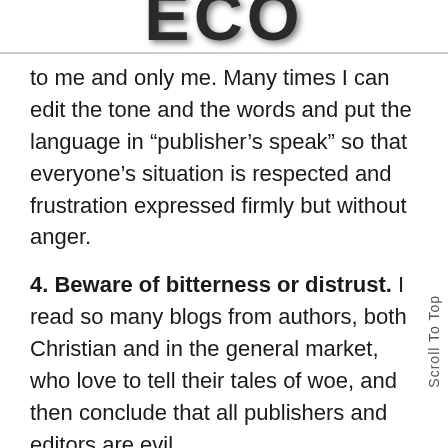ECO
to me and only me. Many times I can edit the tone and the words and put the language in “publisher’s speak” so that everyone’s situation is respected and frustration expressed firmly but without anger.
4. Beware of bitterness or distrust. I read so many blogs from authors, both Christian and in the general market, who love to tell their tales of woe, and then conclude that all publishers and editors are evil.
Remember that people make mistakes. And sometimes businesses make business decisions that affect you negatively. I understand. I’ve been fired from a job with no warning before, I understand. But it can only become worse if you let